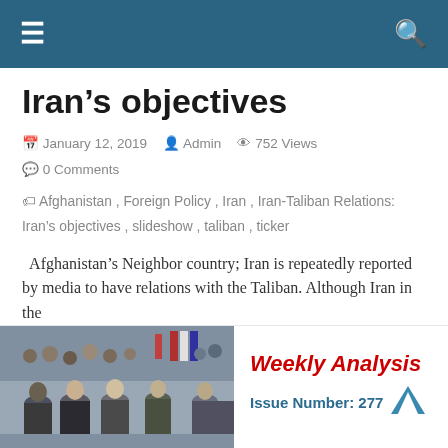☰ [navigation] 🔍 [search]
Iran's objectives
January 12, 2019  Admin  752 Views  0 Comments
Afghanistan, Foreign Policy, Iran, Iran-Taliban Relations: Iran's objectives, slideshow, taliban, ticker
Afghanistan's Neighbor country; Iran is repeatedly reported by media to have relations with the Taliban. Although Iran in the
Read more
[Figure (photo): Group of men in formal attire, appearing to be at an official or military ceremony]
Weekly Analysis
Issue Number: 277